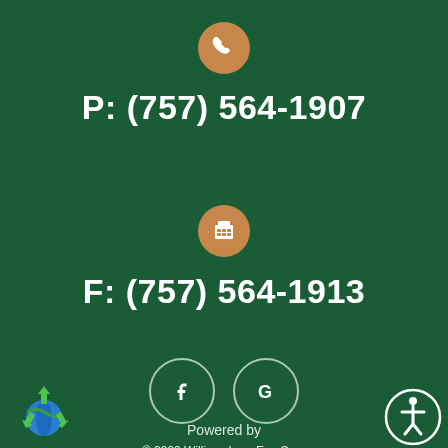[Figure (illustration): Phone icon in brown circle]
P: (757) 564-1907
[Figure (illustration): Fax/keypad icon in brown circle]
F: (757) 564-1913
[Figure (illustration): Facebook and Google social media icons in circular outlines]
© 2022 Williamsburg Eye Care - All Rights Reserved
Accessibility Statement - Privacy Policy - Sitemap
[Figure (logo): Green earth recycling logo bottom left]
Powered by
[Figure (illustration): Accessibility person icon in circle bottom right]
[Figure (illustration): Back to top arrow button]